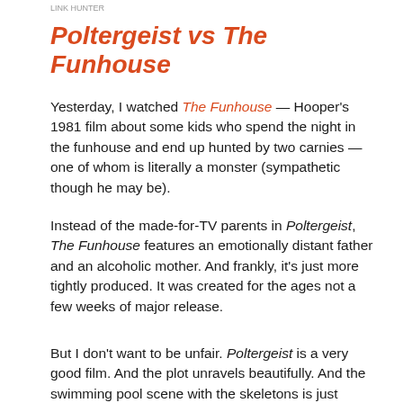LINK HUNTER
Poltergeist vs The Funhouse
Yesterday, I watched The Funhouse — Hooper's 1981 film about some kids who spend the night in the funhouse and end up hunted by two carnies — one of whom is literally a monster (sympathetic though he may be).
Instead of the made-for-TV parents in Poltergeist, The Funhouse features an emotionally distant father and an alcoholic mother. And frankly, it's just more tightly produced. It was created for the ages not a few weeks of major release.
But I don't want to be unfair. Poltergeist is a very good film. And the plot unravels beautifully. And the swimming pool scene with the skeletons is just fantastic.
[Figure (screenshot): YouTube video embed thumbnail showing 'Poltergeist (1982) - Skeletons In ...' with a circular profile image of a woman with long hair on a dark background, three-dot menu icon visible, and a dark underwater scene preview below.]